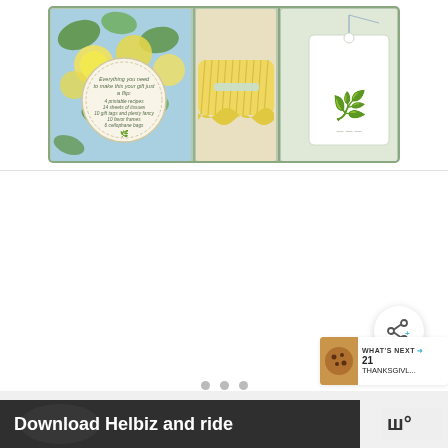[Figure (photo): A gift box kit containing lemon-and-leaf patterned paper/fabric, yellow striped rolled material tied with a ribbon, a circular label/sticker with text, and a white gift tag with a botanical illustration.]
[Figure (other): Empty white content area below the product image, part of a webpage layout.]
[Figure (other): Share button (circular white button with share icon).]
[Figure (other): What's Next panel showing '21 THANKSGIVL...' with thumbnail of cookies.]
[Figure (other): Navigation dots (three gray circles) for image carousel.]
[Figure (other): Advertisement banner: 'Download Helbiz and ride' with play and close icons.]
[Figure (logo): Website logo mark in top right of ad row (white W's on dark background).]